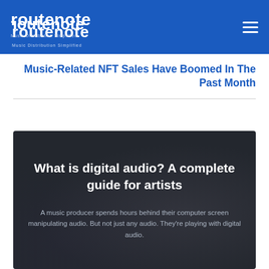Routenote — Music Distribution Simplified
Music-Related NFT Sales Have Boomed In The Past Month
[Figure (screenshot): Dark themed article card with heading 'What is digital audio? A complete guide for artists' and a subtitle 'A music producer spends hours behind their computer screen manipulating audio. But not just any audio. They're playing with digital audio.' over a dark background with musical equipment imagery.]